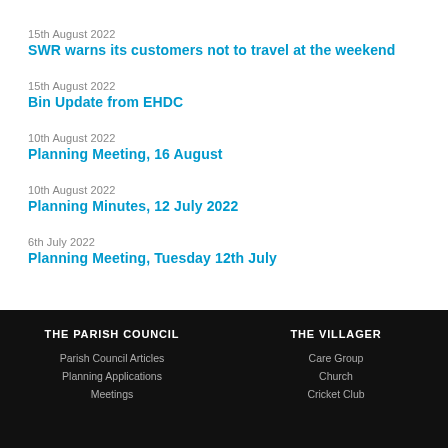15th August 2022
SWR warns its customers not to travel at the weekend
15th August 2022
Bin Update from EHDC
10th August 2022
Planning Meeting, 16 August
10th August 2022
Planning Minutes, 12 July 2022
6th July 2022
Planning Meeting, Tuesday 12th July
THE PARISH COUNCIL
Parish Council Articles
Planning Applications
Meetings
THE VILLAGER
Care Group
Church
Cricket Club